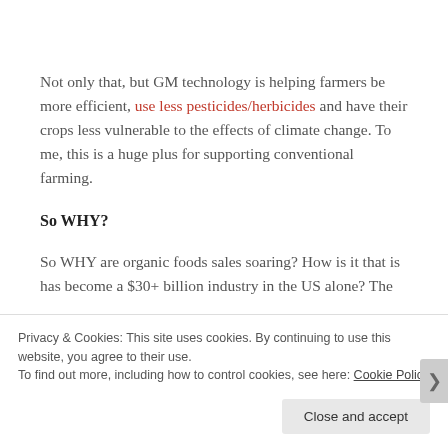Not only that, but GM technology is helping farmers be more efficient, use less pesticides/herbicides and have their crops less vulnerable to the effects of climate change. To me, this is a huge plus for supporting conventional farming.
So WHY?
So WHY are organic foods sales soaring? How is it that is has become a $30+ billion industry in the US alone? The
Privacy & Cookies: This site uses cookies. By continuing to use this website, you agree to their use.
To find out more, including how to control cookies, see here: Cookie Policy